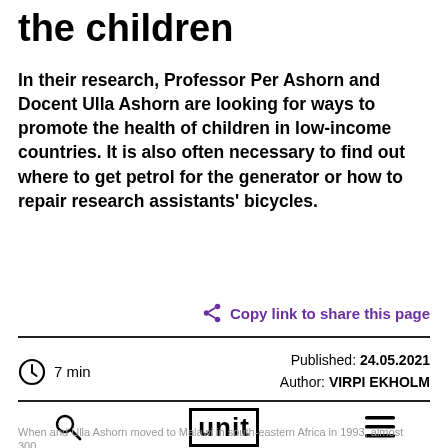the children
In their research, Professor Per Ashorn and Docent Ulla Ashorn are looking for ways to promote the health of children in low-income countries. It is also often necessary to find out where to get petrol for the generator or how to repair research assistants' bicycles.
Copy link to share this page
7 min   Published: 24.05.2021   Author: VIRPI EKHOLM
When and Ulla Ashorn moved to Malawi in south-eastern Africa in 1993, almost 300...